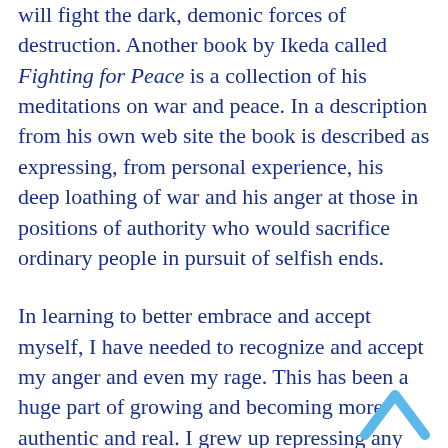will fight the dark, demonic forces of destruction. Another book by Ikeda called Fighting for Peace is a collection of his meditations on war and peace. In a description from his own web site the book is described as expressing, from personal experience, his deep loathing of war and his anger at those in positions of authority who would sacrifice ordinary people in pursuit of selfish ends.
In learning to better embrace and accept myself, I have needed to recognize and accept my anger and even my rage. This has been a huge part of growing and becoming more authentic and real. I grew up repressing any anger I felt. Scary feelings like anger were stuffed away and suppressed. My fears of “rocking the boat” and of not being liked felt very overpowering. There is no doubt that I had the people-pleasing disease.